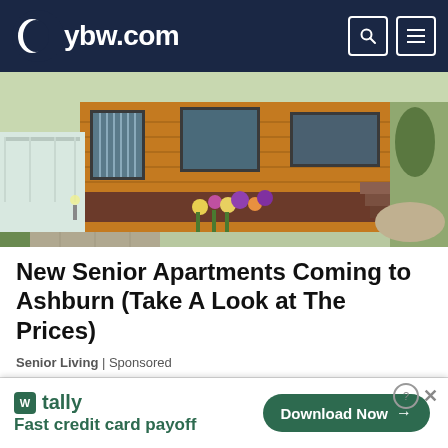ybw.com
[Figure (photo): Exterior of a wooden-clad modular/park home with brick base, patio stones, garden lights, and flower beds]
New Senior Apartments Coming to Ashburn (Take A Look at The Prices)
Senior Living | Sponsored
[Figure (photo): Lush green tropical garden with dense trees and foliage]
[Figure (other): Tally advertisement banner: 'Fast credit card payoff' with Download Now button]